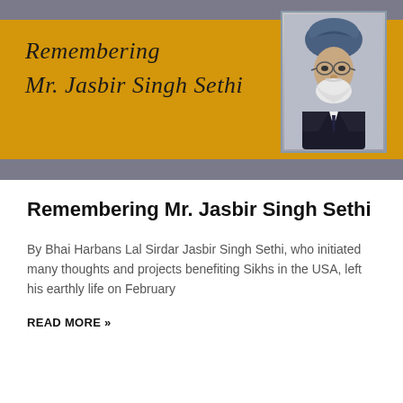[Figure (illustration): Banner with golden/amber background featuring italic script text 'Remembering Mr. Jasbir Singh Sethi' on the left, and a framed portrait photograph of an elderly Sikh man wearing a blue turban, glasses, white beard, and dark suit with tie on the right. The banner has a grey surround.]
Remembering Mr. Jasbir Singh Sethi
By Bhai Harbans Lal Sirdar Jasbir Singh Sethi, who initiated many thoughts and projects benefiting Sikhs in the USA, left his earthly life on February
READ MORE »